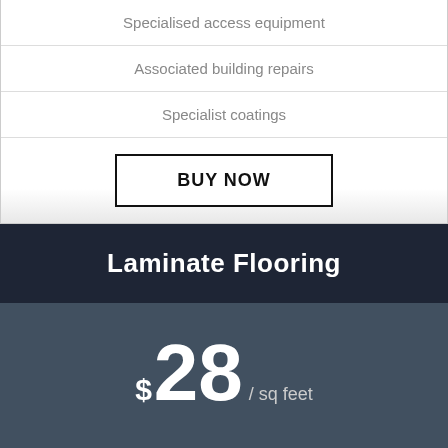Specialised access equipment
Associated building repairs
Specialist coatings
BUY NOW
Laminate Flooring
$28 / sq feet
Repairing the existent flooring
Tiling